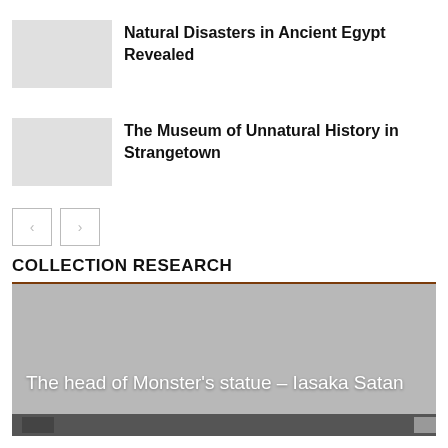Natural Disasters in Ancient Egypt Revealed
The Museum of Unnatural History in Strangetown
[Figure (other): Navigation previous and next buttons (left/right arrow buttons)]
COLLECTION RESEARCH
[Figure (photo): Grey placeholder image with text overlay: The head of Monster's statue – Iasaka Satan]